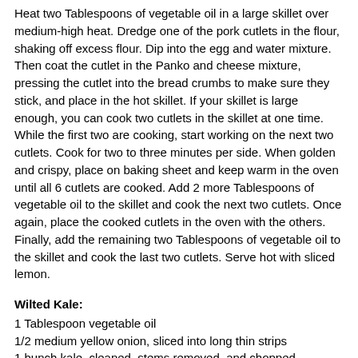Heat two Tablespoons of vegetable oil in a large skillet over medium-high heat. Dredge one of the pork cutlets in the flour, shaking off excess flour. Dip into the egg and water mixture. Then coat the cutlet in the Panko and cheese mixture, pressing the cutlet into the bread crumbs to make sure they stick, and place in the hot skillet. If your skillet is large enough, you can cook two cutlets in the skillet at one time. While the first two are cooking, start working on the next two cutlets. Cook for two to three minutes per side. When golden and crispy, place on baking sheet and keep warm in the oven until all 6 cutlets are cooked. Add 2 more Tablespoons of vegetable oil to the skillet and cook the next two cutlets. Once again, place the cooked cutlets in the oven with the others. Finally, add the remaining two Tablespoons of vegetable oil to the skillet and cook the last two cutlets. Serve hot with sliced lemon.
Wilted Kale:
1 Tablespoon vegetable oil
1/2 medium yellow onion, sliced into long thin strips
1 bunch kale, cleaned, stems removed, and chopped